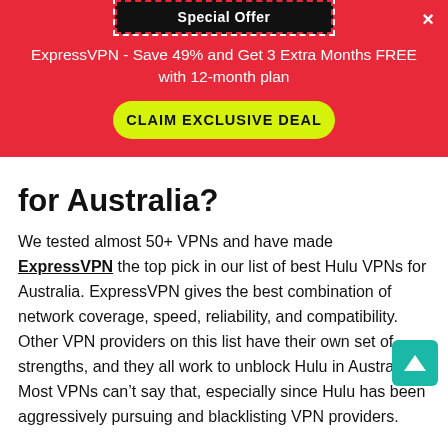Special Offer
ExpressVPN - Save 49% and Get 3 Extra Months FREE with 12-month plan
CLAIM EXCLUSIVE DEAL
for Australia?
We tested almost 50+ VPNs and have made ExpressVPN the top pick in our list of best Hulu VPNs for Australia. ExpressVPN gives the best combination of network coverage, speed, reliability, and compatibility. Other VPN providers on this list have their own set of strengths, and they all work to unblock Hulu in Australia. Most VPNs can't say that, especially since Hulu has been aggressively pursuing and blacklisting VPN providers.